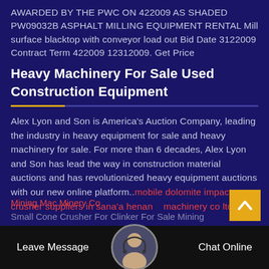AWARDED BY THE PWC ON 422009 AS SHADED PW09032B ASPHALT MILLING EQUIPMENT RENTAL Mill surface blacktop with conveyor load out Bid Date 3122009 Contract Term 422009 12312009. Get Price
Heavy Machinery For Sale Used Construction Equipment
Alex Lyon and Son is America's Auction Company, leading the industry in heavy equipment for sale and heavy machinery for sale. For more than 6 decades, Alex Lyon and Son has lead the way in construction material auctions and has revolutionized heavy equipment auctions with our new online platform..mobile dolomite impact crusher suppliers in sana'a henan machinery co ltd For Mining Mac Minery Co
Small Cone Crusher For Clinker For Sale Mining
Leave Message
Chat Online